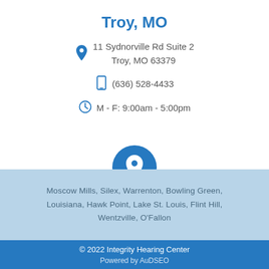Troy, MO
11 Sydnorville Rd Suite 2
Troy, MO 63379
(636) 528-4433
M - F: 9:00am - 5:00pm
[Figure (illustration): Blue circular location pin icon]
Moscow Mills, Silex, Warrenton, Bowling Green, Louisiana, Hawk Point, Lake St. Louis, Flint Hill, Wentzville, O'Fallon
© 2022 Integrity Hearing Center
Powered by AuDSEO